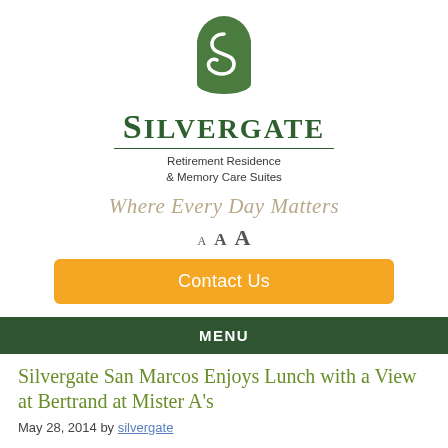[Figure (logo): Silvergate Retirement Residence & Memory Care Suites logo with green arch/leaf icon and text]
Where Every Day Matters
A A A (font size selectors)
Contact Us
MENU
Silvergate San Marcos Enjoys Lunch with a View at Bertrand at Mister A’s
May 28, 2014 by silvergate
Silvergate San Marcos Enjoys